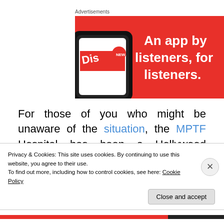Advertisements
[Figure (illustration): Red advertisement banner for a listening app showing a smartphone with 'Dis...' text and bold white text 'An app by listeners, for listeners.']
For those of you who might be unaware of the situation, the MPTF Hospital has been a Hollywood institution since the 1940's and a place where elderly actors, directors,
Privacy & Cookies: This site uses cookies. By continuing to use this website, you agree to their use.
To find out more, including how to control cookies, see here: Cookie Policy
Close and accept